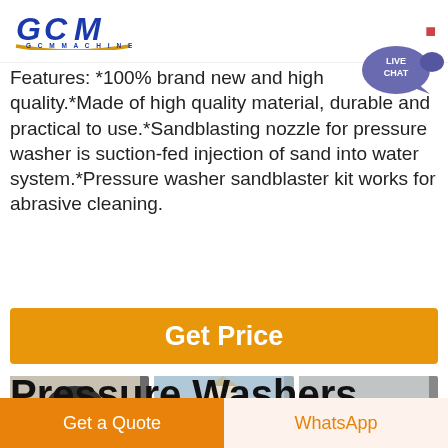GCM MACHINERY
[Figure (logo): GCM Machinery logo with blue italic text and gold underline]
Features: *100% brand new and high quality.*Made of high quality material, durable and practical to use.*Sandblasting nozzle for pressure washer is suction-fed injection of sand into water system.*Pressure washer sandblaster kit works for abrasive cleaning.
[Figure (illustration): Orange 'Get Price' button]
[Figure (photo): Three GCM machinery photos side by side: cone crusher, sand pile with machine, and jaw crusher]
Pressure Washers
Get a Quote   WhatsApp